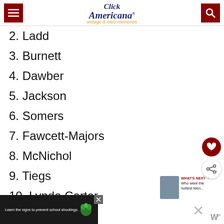Click Americana — vintage & retro memories
2. Ladd
3. Burnett
4. Dawber
5. Jackson
6. Somers
7. Fawcett-Majors
8. McNichol
9. Tiegs
10. Lynda Carter
WHAT'S NEXT → Who were the hottest teen...
Learn the signs to prevent school shootings.